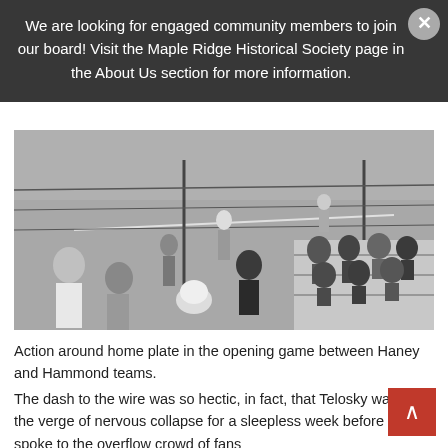We are looking for engaged community members to join our board! Visit the Maple Ridge Historical Society page in the About Us section for more information.
[Figure (photo): Black and white photograph showing action around home plate at a baseball game. Spectators sit on bleachers in the foreground watching players on the field through a chain-link fence. A player in uniform stands near the baseline while another walks in the background.]
Action around home plate in the opening game between Haney and Hammond teams.
The dash to the wire was so hectic, in fact, that Telosky was on the verge of nervous collapse for a sleepless week before he spoke to the overflow crowd of fans